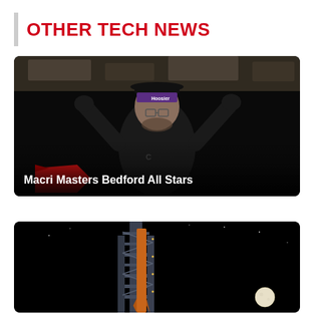OTHER TECH NEWS
[Figure (photo): Racing driver in black jacket and purple Hoosier cap with arms raised in celebration, dark background, holding a red trophy or flag at the bottom left.]
Macri Masters Bedford All Stars
[Figure (photo): Rocket on launch pad at night with a full moon visible in the dark sky to the right.]